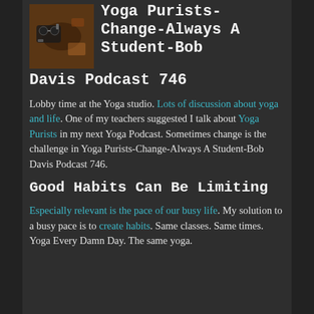Yoga Purists-Change-Always A Student-Bob Davis Podcast 746
Lobby time at the Yoga studio. Lots of discussion about yoga and life. One of my teachers suggested I talk about Yoga Purists in my next Yoga Podcast. Sometimes change is the challenge in Yoga Purists-Change-Always A Student-Bob Davis Podcast 746.
Good Habits Can Be Limiting
Especially relevant is the pace of our busy life. My solution to a busy pace is to create habits. Same classes. Same times. Yoga Every Damn Day. The same yoga.